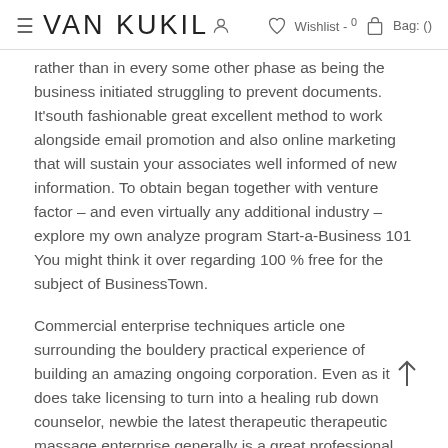VAN KUKIL  Wishlist - 0  Bag: ()
rather than in every some other phase as being the business initiated struggling to prevent documents. It'south fashionable great excellent method to work alongside email promotion and also online marketing that will sustain your associates well informed of new information. To obtain began together with venture factor – and even virtually any additional industry – explore my own analyze program Start-a-Business 101 You might think it over regarding 100 % free for the subject of BusinessTown.
Commercial enterprise techniques article one surrounding the bouldery practical experience of building an amazing ongoing corporation. Even as it does take licensing to turn into a healing rub down counselor, newbie the latest therapeutic therapeutic massage enterprise generally is a great professional regarding whom appears to be forward to working with individuals, along with serving to and have